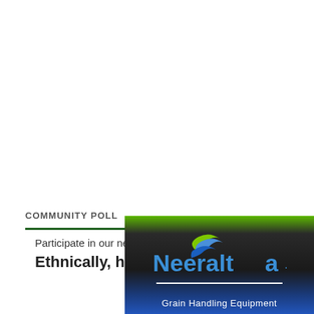COMMUNITY POLL
Participate in our next community poll.
Ethnically, how do you identify as a
[Figure (logo): Neeralta Grain Handling Equipment advertisement banner with green, black, and blue gradient background, Neeralta logo with blue stylized text and green/blue swoosh mark, and tagline 'Grain Handling Equipment']